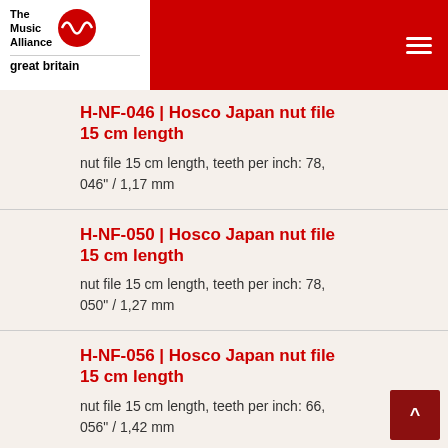The Music Alliance great britain
H-NF-046 | Hosco Japan nut file 15 cm length
nut file 15 cm length, teeth per inch: 78, 046" / 1,17 mm
H-NF-050 | Hosco Japan nut file 15 cm length
nut file 15 cm length, teeth per inch: 78, 050" / 1,27 mm
H-NF-056 | Hosco Japan nut file 15 cm length
nut file 15 cm length, teeth per inch: 66, 056" / 1,42 mm
H-SCR-5 | Hosco Japan set of 5